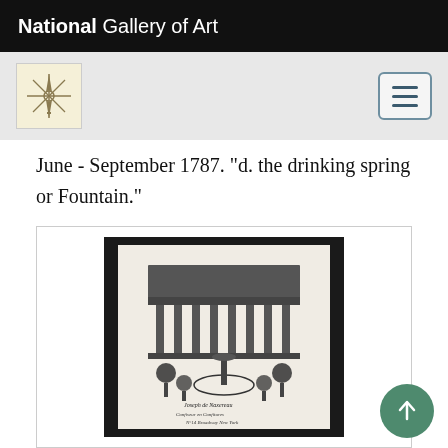National Gallery of Art
June - September 1787. "d. the drinking spring or Fountain."
[Figure (illustration): Trade card depicting a classical building facade with a fountain and trees in front, with handwritten text at the bottom. Black and white engraving by Peter Maverick.]
Peter Maverick, Trade card depicting Joseph de...